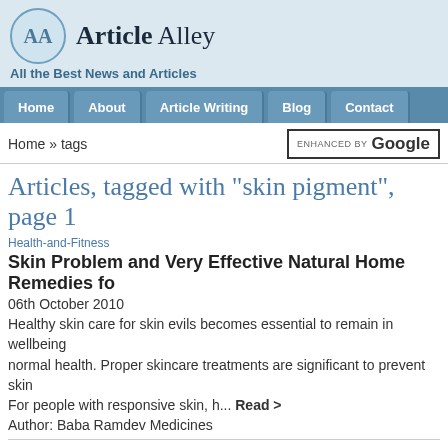Article Alley
All the Best News and Articles
Home | About | Article Writing | Blog | Contact
Home » tags
Articles, tagged with "skin pigment", page 1
Health-and-Fitness
Skin Problem and Very Effective Natural Home Remedies fo
06th October 2010
Healthy skin care for skin evils becomes essential to remain in wellbeing normal health. Proper skincare treatments are significant to prevent skin For people with responsive skin, h... Read >
Author: Baba Ramdev Medicines
Health-and-Fitness
Skin Lightening Cream with Extrapone Nut Grass Can Ligh
23rd June 2010
If you have freckles, age spots or just want lighter skin, you need to read